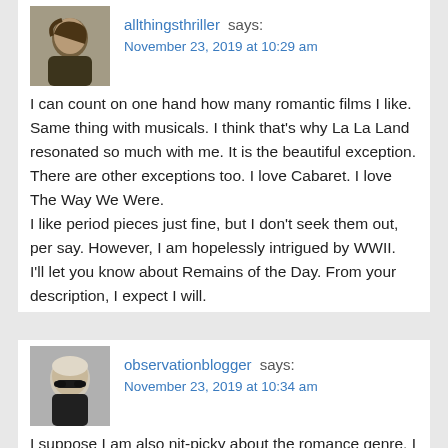allthingsthriller says:
November 23, 2019 at 10:29 am
[Figure (photo): Profile photo of allthingsthriller, a person with dark hair outdoors]
I can count on one hand how many romantic films I like. Same thing with musicals. I think that's why La La Land resonated so much with me. It is the beautiful exception. There are other exceptions too. I love Cabaret. I love The Way We Were.
I like period pieces just fine, but I don't seek them out, per say. However, I am hopelessly intrigued by WWII.
I'll let you know about Remains of the Day. From your description, I expect I will.
observationblogger says:
November 23, 2019 at 10:34 am
[Figure (photo): Profile photo of observationblogger, a bald person wearing sunglasses]
I suppose I am also nit-picky about the romance genre. I haven't seen those other